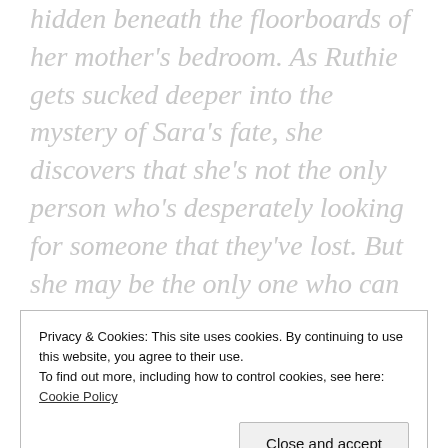hidden beneath the floorboards of her mother's bedroom. As Ruthie gets sucked deeper into the mystery of Sara's fate, she discovers that she's not the only person who's desperately looking for someone that they've lost. But she may be the only one who can stop history from repeating itself.
Privacy & Cookies: This site uses cookies. By continuing to use this website, you agree to their use. To find out more, including how to control cookies, see here: Cookie Policy
Close and accept